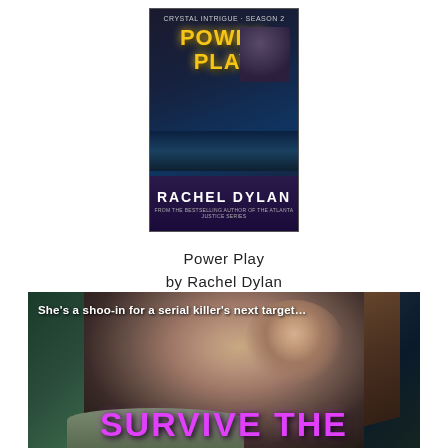[Figure (illustration): Book cover for 'Power Play' by Rachel Dylan. Dark blue/purple background with a figure on the right and a cityscape/bridge in the middle. Yellow text reads 'POWER PLAY' and white bold text reads 'RACHEL DYLAN' at the bottom.]
Power Play
by Rachel Dylan
[Figure (photo): Promotional image showing a young woman with long brown hair looking upward to the right. Text at top reads 'She’s a shoo-in for a serial killer’s next target…' and large pink text at the bottom reads 'SURVIVE THE'.]